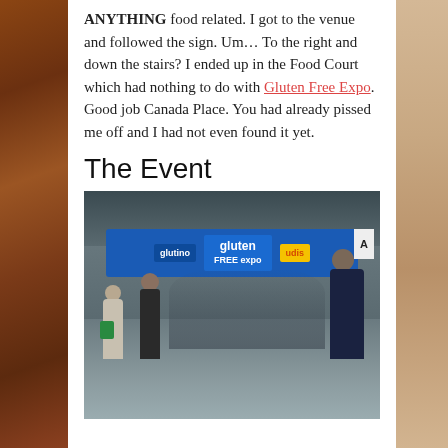ANYTHING food related. I got to the venue and followed the sign. Um… To the right and down the stairs? I ended up in the Food Court which had nothing to do with Gluten Free Expo. Good job Canada Place. You had already pissed me off and I had not even found it yet.
The Event
[Figure (photo): Photo of the entrance to the Gluten Free Expo at Canada Place, showing people walking into a hallway under a large blue banner with 'gluten FREE expo' branding, with Glutino and Udi's sponsor logos on either side. Sign 'A' visible on right pillar.]